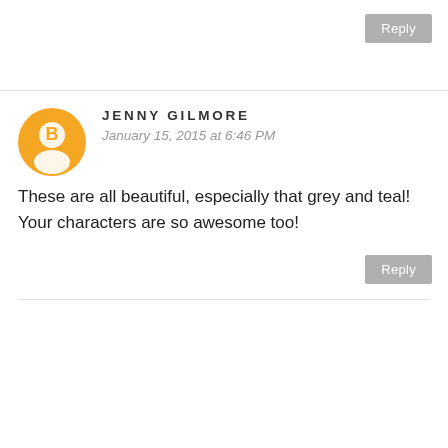[Figure (other): Reply button at top right]
JENNY GILMORE
January 15, 2015 at 6:46 PM
These are all beautiful, especially that grey and teal! Your characters are so awesome too!
[Figure (other): Reply button at bottom right]